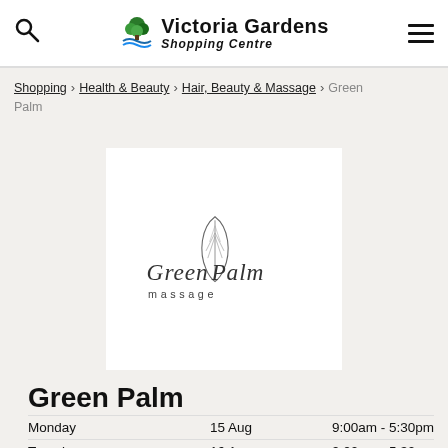Victoria Gardens Shopping Centre
Shopping > Health & Beauty > Hair, Beauty & Massage > Green Palm
[Figure (logo): Green Palm massage logo — stylized grey palm leaf with script text 'Green Palm massage']
Green Palm
| Day | Date | Hours |
| --- | --- | --- |
| Monday | 15 Aug | 9:00am - 5:30pm |
| Tuesday | 16 Aug | 9:00am - 5:30pm |